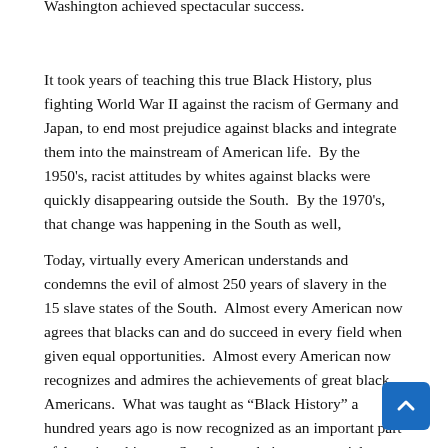Washington achieved spectacular success.
It took years of teaching this true Black History, plus fighting World War II against the racism of Germany and Japan, to end most prejudice against blacks and integrate them into the mainstream of American life.  By the 1950's, racist attitudes by whites against blacks were quickly disappearing outside the South.  By the 1970's, that change was happening in the South as well,
Today, virtually every American understands and condemns the evil of almost 250 years of slavery in the 15 slave states of the South.  Almost every American now agrees that blacks can and do succeed in every field when given equal opportunities.  Almost every American now recognizes and admires the achievements of great black Americans.  What was taught as “Black History” a hundred years ago is now recognized as an important part of American history.  So why are their more special “Black History” programs now than ever before?